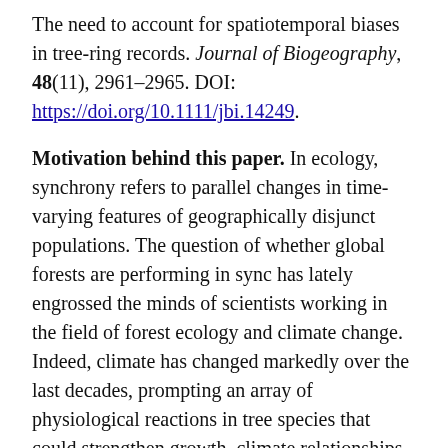The need to account for spatiotemporal biases in tree-ring records. Journal of Biogeography, 48(11), 2961–2965. DOI: https://doi.org/10.1111/jbi.14249.
Motivation behind this paper. In ecology, synchrony refers to parallel changes in time-varying features of geographically disjunct populations. The question of whether global forests are performing in sync has lately engrossed the minds of scientists working in the field of forest ecology and climate change. Indeed, climate has changed markedly over the last decades, prompting an array of physiological reactions in tree species that could strengthen growth–climate relationships. For example, in dry environments, warming-induced drought stress often makes trees gradually limited by water shortage which overrides local drivers of growth (e.g., topography, soil nutrients), resulting in enhanced